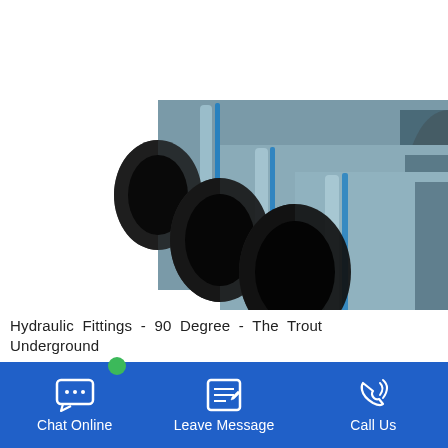[Figure (photo): Three large dark grey/black HDPE or similar plastic pipes arranged diagonally, with blue stripe highlights on the surface, photographed against a white background.]
Hydraulic Fittings - 90 Degree - The Trout Underground
[Figure (infographic): Blue footer bar with three icons and labels: Chat Online (speech bubble icon), Leave Message (notepad icon), Call Us (phone icon).]